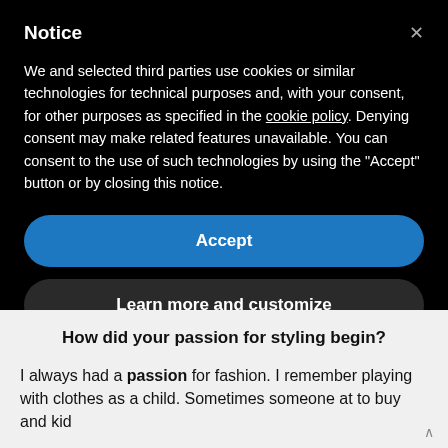Notice
We and selected third parties use cookies or similar technologies for technical purposes and, with your consent, for other purposes as specified in the cookie policy. Denying consent may make related features unavailable. You can consent to the use of such technologies by using the "Accept" button or by closing this notice.
Accept
Learn more and customize
How did your passion for styling begin?
I always had a passion for fashion. I remember playing with clothes as a child. Sometimes someone at to buy and kid